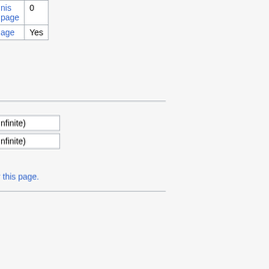| nis page | 0 |
| age | Yes |
| nfinite) |
| nfinite) |
r this page.
|  | AndreasLeue (talk | contribs) |
|  | 14:50, 15 December 2009 |
|  | AndreasLeue (talk | contribs) |
|  | 17:38, 14 July 2010 |
|  | 8 |
| authors | 1 |
| (within past 90 |  |